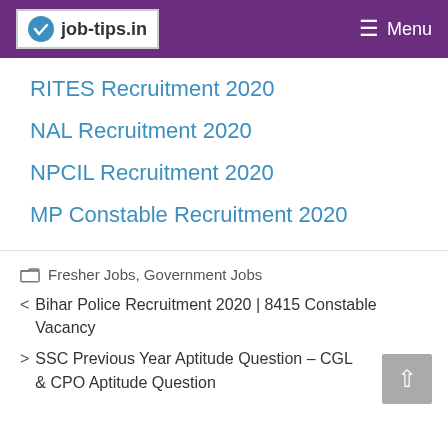job-tips.in | Menu
RITES Recruitment 2020
NAL Recruitment 2020
NPCIL Recruitment 2020
MP Constable Recruitment 2020
Fresher Jobs, Government Jobs
< Bihar Police Recruitment 2020 | 8415 Constable Vacancy
> SSC Previous Year Aptitude Question – CGL & CPO Aptitude Question